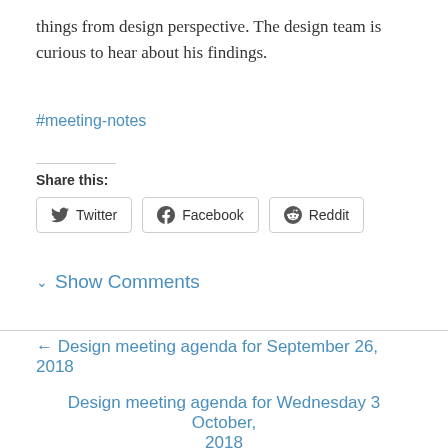things from design perspective. The design team is curious to hear about his findings.
#meeting-notes
Share this:
Twitter   Facebook   Reddit
Show Comments
← Design meeting agenda for September 26, 2018
Design meeting agenda for Wednesday 3 October, 2018